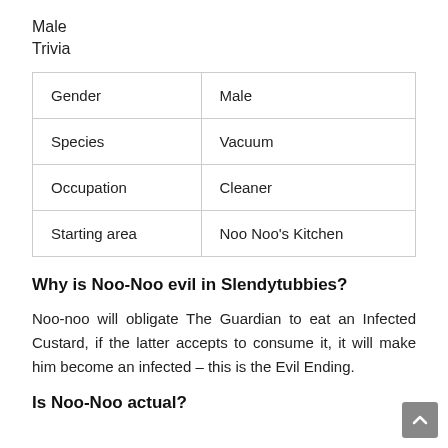Male
Trivia
| Gender | Male |
| Species | Vacuum |
| Occupation | Cleaner |
| Starting area | Noo Noo's Kitchen |
Why is Noo-Noo evil in Slendytubbies?
Noo-noo will obligate The Guardian to eat an Infected Custard, if the latter accepts to consume it, it will make him become an infected – this is the Evil Ending.
Is Noo-Noo actual?